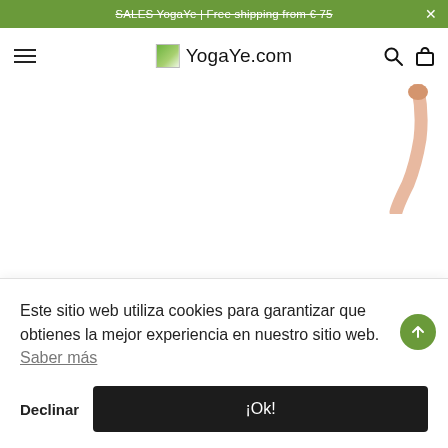SALES YogaYe | Free shipping from € 75
[Figure (screenshot): YogaYe.com website navigation bar with hamburger menu, logo image, site name YogaYe.com, search icon, and shopping bag icon]
[Figure (photo): Partial view of a yoga product (arm/cord visible in upper right area of main content)]
Este sitio web utiliza cookies para garantizar que obtienes la mejor experiencia en nuestro sitio web.  Saber más
Declinar   ¡Ok!